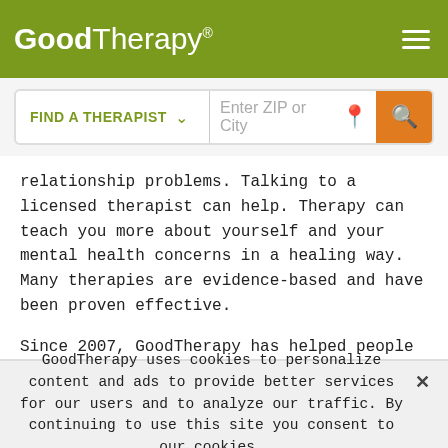GoodTherapy®
relationship problems. Talking to a licensed therapist can help. Therapy can teach you more about yourself and your mental health concerns in a healing way. Many therapies are evidence-based and have been proven effective.
Since 2007, GoodTherapy has helped people like you connect with ethical, compassionate counselors and therapists. The therapists listed above, who practice therapy in Geneva, are trained to protect client confidentiality and privacy. In keeping with our high membership standards, these mental
GoodTherapy uses cookies to personalize content and ads to provide better services for our users and to analyze our traffic. By continuing to use this site you consent to our cookies. ✕